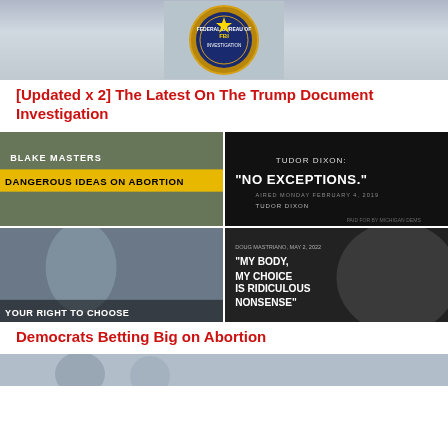[Figure (photo): FBI badge/seal close-up, gold and blue circular emblem with 'Federal Bureau of Investigation' text]
[Updated x 2] The Latest On The Trump Document Investigation
[Figure (photo): 2x2 grid of political ad screenshots: Blake Masters 'Dangerous Ideas on Abortion', Tudor Dixon 'No Exceptions', a woman with 'Your Right to Choose', Doug Mastriano 'My Body My Choice Is Ridiculous Nonsense']
Democrats Betting Big on Abortion
[Figure (photo): Partial image at bottom of page, appears to show people in a group setting]